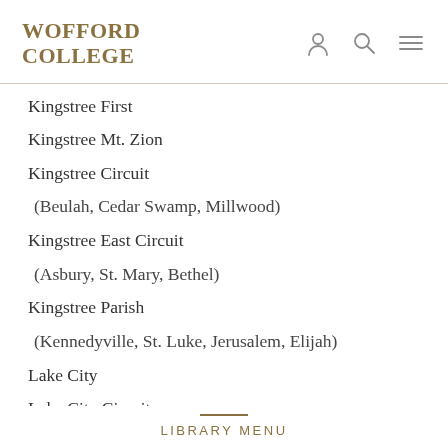WOFFORD COLLEGE
Kingstree First
Kingstree Mt. Zion
Kingstree Circuit
(Beulah, Cedar Swamp, Millwood)
Kingstree East Circuit
(Asbury, St. Mary, Bethel)
Kingstree Parish
(Kennedyville, St. Luke, Jerusalem, Elijah)
Lake City
Lake City Circuit
(St. John, St. Luke, Ninevah)
LIBRARY MENU